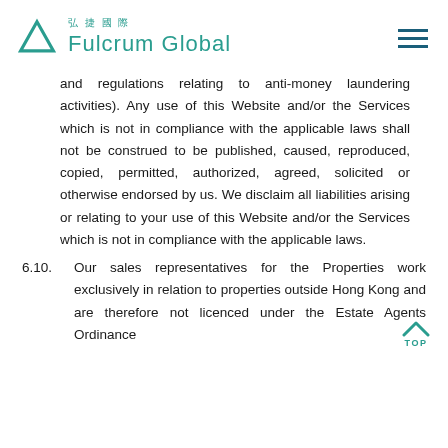弘捷國際 Fulcrum Global
and regulations relating to anti-money laundering activities). Any use of this Website and/or the Services which is not in compliance with the applicable laws shall not be construed to be published, caused, reproduced, copied, permitted, authorized, agreed, solicited or otherwise endorsed by us. We disclaim all liabilities arising or relating to your use of this Website and/or the Services which is not in compliance with the applicable laws.
6.10. Our sales representatives for the Properties work exclusively in relation to properties outside Hong Kong and are therefore not licenced under the Estate Agents Ordinance